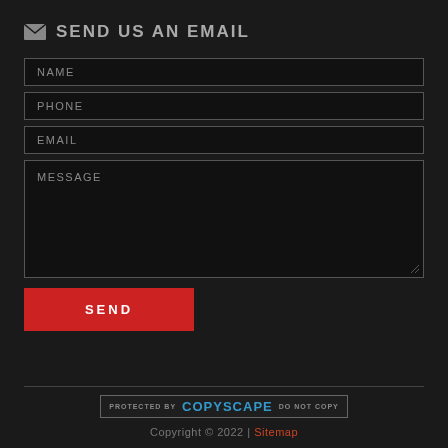SEND US AN EMAIL
NAME
PHONE
EMAIL
MESSAGE
SEND
[Figure (other): Copyscape protection badge with text: PROTECTED BY COPYSCAPE DO NOT COPY]
Copyright © 2022 | Sitemap